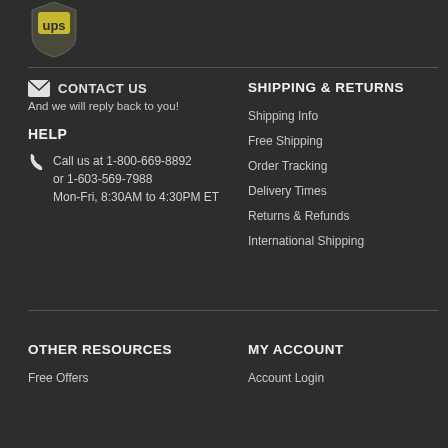[Figure (logo): UPS shield logo in white on dark background]
CONTACT US
And we will reply back to you!
HELP
Call us at 1-800-669-8892
or 1-603-569-7988
Mon-Fri, 8:30AM to 4:30PM ET
SHIPPING & RETURNS
Shipping Info
Free Shipping
Order Tracking
Delivery Times
Returns & Refunds
International Shipping
OTHER RESOURCES
Free Offers
MY ACCOUNT
Account Login